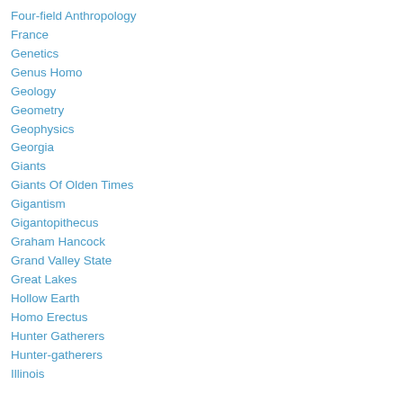Four-field Anthropology
France
Genetics
Genus Homo
Geology
Geometry
Geophysics
Georgia
Giants
Giants Of Olden Times
Gigantism
Gigantopithecus
Graham Hancock
Grand Valley State
Great Lakes
Hollow Earth
Homo Erectus
Hunter Gatherers
Hunter-gatherers
Illinois